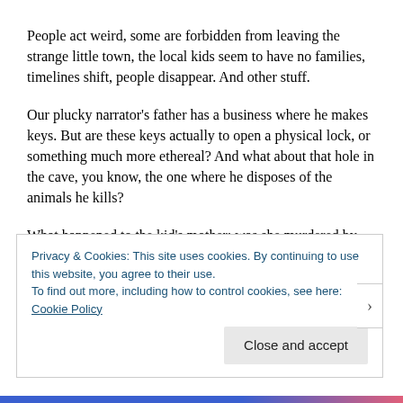People act weird, some are forbidden from leaving the strange little town, the local kids seem to have no families, timelines shift, people disappear. And other stuff.
Our plucky narrator’s father has a business where he makes keys. But are these keys actually to open a physical lock, or something much more ethereal? And what about that hole in the cave, you know, the one where he disposes of the animals he kills?
What happened to the kid’s mother; was she murdered by his father or did she just leave them? Or did she kill the father? (See; weird.)
When the titular character turns up towards the end you still don’t
Privacy & Cookies: This site uses cookies. By continuing to use this website, you agree to their use.
To find out more, including how to control cookies, see here: Cookie Policy
Close and accept